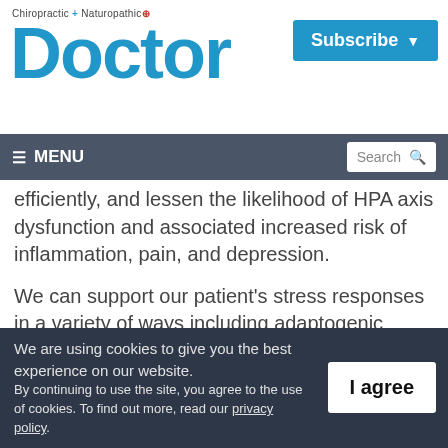Chiropractic + Naturopathic Doctor — Subscribe
≡ MENU  Search
efficiently, and lessen the likelihood of HPA axis dysfunction and associated increased risk of inflammation, pain, and depression.
We can support our patient's stress responses in a variety of ways including adaptogenic
We are using cookies to give you the best experience on our website. By continuing to use the site, you agree to the use of cookies. To find out more, read our privacy policy.